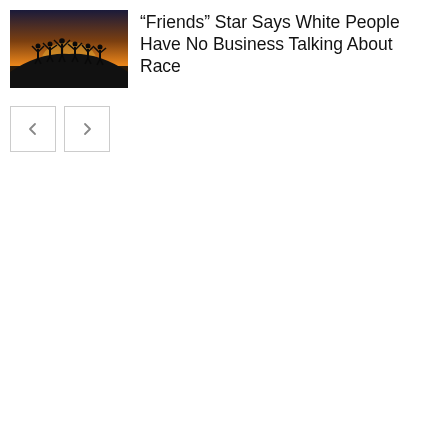[Figure (photo): Thumbnail photo of a group of people with arms raised against a sunset/sunrise sky on a hilltop or mountain]
“Friends” Star Says White People Have No Business Talking About Race